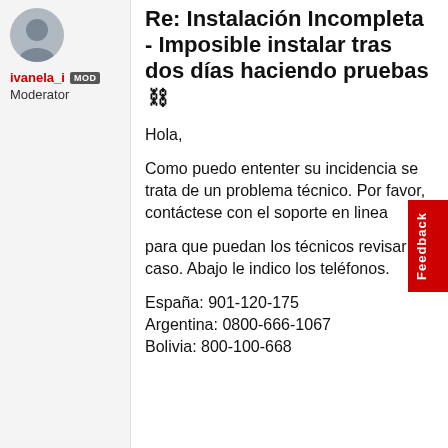[Figure (photo): Circular avatar photo of user ivanela_i, partially cropped at top]
ivanela_i MOD
Moderator
Re: Instalación Incompleta - Imposible instalar tras dos días haciendo pruebas 🔗
Hola,
Como puedo ententer su incidencia se trata de un problema técnico. Por favor, contáctese con el soporte en linea
para que puedan los técnicos revisar su caso. Abajo le indico los teléfonos.
España: 901-120-175
Argentina: 0800-666-1067
Bolivia: 800-100-668